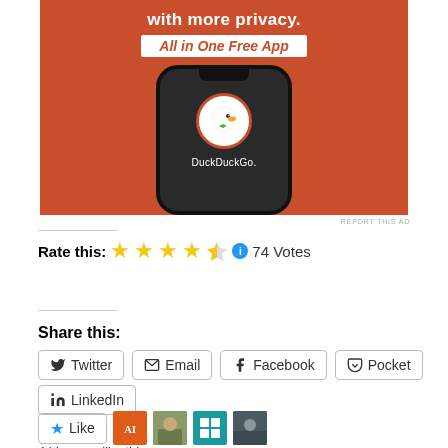[Figure (illustration): DuckDuckGo advertisement showing a smartphone with the DuckDuckGo app logo on an orange background, with text 'with more privacy. All in One Free App']
REPORT THIS AD
Rate this: ★★★★½ ℹ 74 Votes
Share this:
Twitter
Email
Facebook
Pocket
LinkedIn
Like
4 bloggers like this.